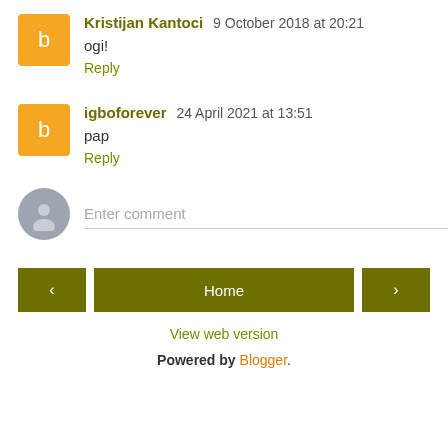Kristijan Kantoci  9 October 2018 at 20:21
ogi!
Reply
igboforever  24 April 2021 at 13:51
pap
Reply
Enter comment
Home
View web version
Powered by Blogger.